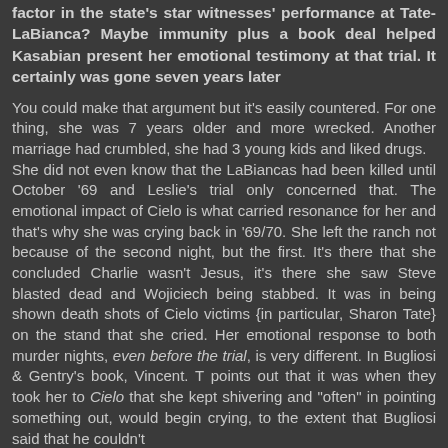factor in the state's star witnesses' performance at Tate-LaBianca? Maybe immunity plus a book deal helped Kasabian present her emotional testimony at that trial. It certainly was gone seven years later
You could make that argument but it's easily countered. For one thing, she was 7 years older and more wrecked. Another marriage had crumbled, she had 3 young kids and liked drugs.
She did not even know that the LaBiancas had been killed until October '69 and Leslie's trial only concerned that. The emotional impact of Cielo is what carried resonance for her and that's why she was crying back in '69/70. She left the ranch not because of the second night, but the first. It's there that she concluded Charlie wasn't Jesus, it's there she saw Steve blasted dead and Wojiciech being stabbed. It was in being shown death shots of Cielo victims {in particular, Sharon Tate} on the stand that she cried. Her emotional response to both murder nights, even before the trial, is very different. In Bugliosi & Gentry's book, Vincent. T points out that it was when they took her to Cielo that she kept shivering and "often" in pointing something out, would begin crying, to the extent that Bugliosi said that he couldn't